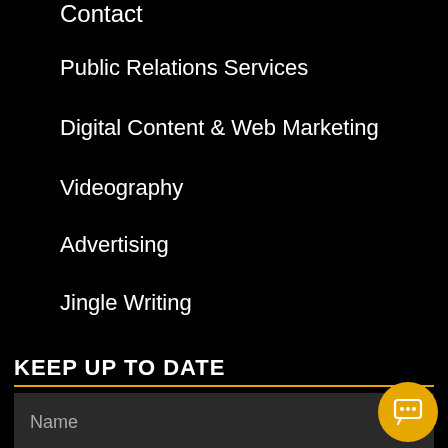Contact
Public Relations Services
Digital Content & Web Marketing
Videography
Advertising
Jingle Writing
KEEP UP TO DATE
Name
Email